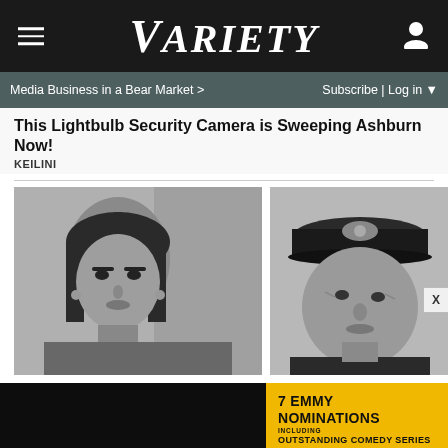VARIETY
Media Business in a Bear Market >
Subscribe | Log in
This Lightbulb Security Camera is Sweeping Ashburn Now!
KEILINI
[Figure (photo): Black and white photo of a Native American woman with dark hair parted in the middle, looking slightly upward, wearing earrings]
[Figure (photo): Black and white photo of an older man wearing a military-style cap with an insignia, looking intensely at the camera]
[Figure (other): Video player panel, dark/black background with mute icon in the bottom left]
[Figure (advertisement): Yellow advertisement panel for Abbott Elementary TV show: 7 Emmy Nominations including Outstanding Comedy Series, ABC/Hulu logos at bottom]